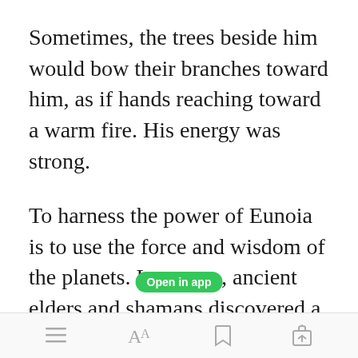Sometimes, the trees beside him would bow their branches toward him, as if hands reaching toward a warm fire. His energy was strong.
To harness the power of Eunoia is to use the force and wisdom of the planets. Long ago, ancient elders and shamans discovered a path to the stars through the mind. It was
Open in app | toolbar icons